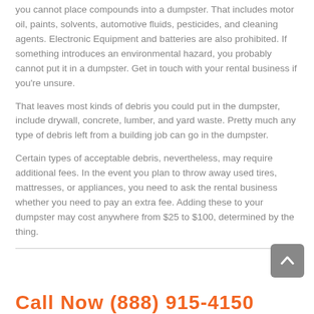you cannot place compounds into a dumpster. That includes motor oil, paints, solvents, automotive fluids, pesticides, and cleaning agents. Electronic Equipment and batteries are also prohibited. If something introduces an environmental hazard, you probably cannot put it in a dumpster. Get in touch with your rental business if you're unsure.
That leaves most kinds of debris you could put in the dumpster, include drywall, concrete, lumber, and yard waste. Pretty much any type of debris left from a building job can go in the dumpster.
Certain types of acceptable debris, nevertheless, may require additional fees. In the event you plan to throw away used tires, mattresses, or appliances, you need to ask the rental business whether you need to pay an extra fee. Adding these to your dumpster may cost anywhere from $25 to $100, determined by the thing.
Call Now (888) 915-4150